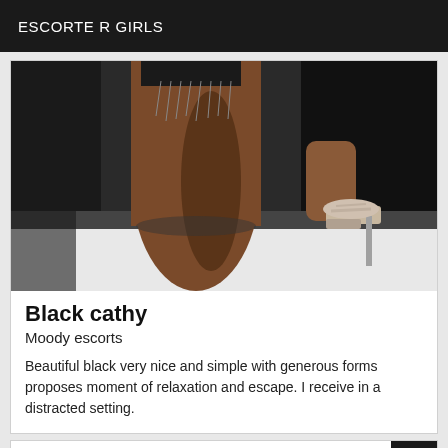ESCORTE R GIRLS
[Figure (photo): Photo of a woman's legs wearing a short black dress and clear high-heel stilettos, posed near a window ledge]
Black cathy
Moody escorts
Beautiful black very nice and simple with generous forms proposes moment of relaxation and escape. I receive in a distracted setting.
[Figure (photo): Partially visible card with a VIP badge in the top-right corner]